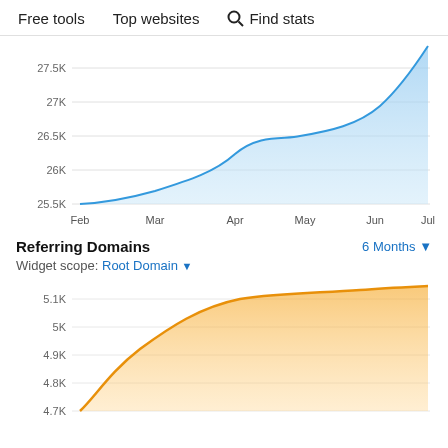Free tools   Top websites   🔍 Find stats
[Figure (area-chart): (Backlinks chart - partial top)]
Referring Domains
Widget scope: Root Domain
[Figure (area-chart): Referring Domains]